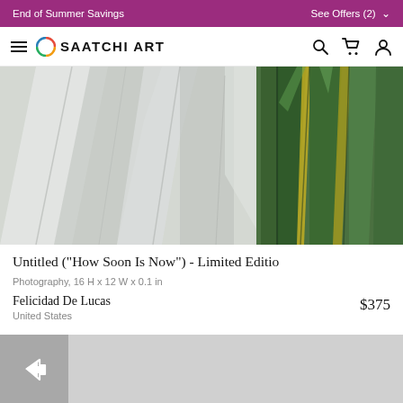End of Summer Savings   See Offers (2)
SAATCHI ART
[Figure (photo): Product photograph showing crinkled plastic wrap/reflective material on the left and green tropical leaves (sansevieria/snake plant) on the right against a light background.]
Untitled ("How Soon Is Now") - Limited Editio
Photography, 16 H x 12 W x 0.1 in
Felicidad De Lucas
United States
$375
[Figure (other): Share/forward icon button (arrow pointing right) on a grey background bar at the bottom of the page.]